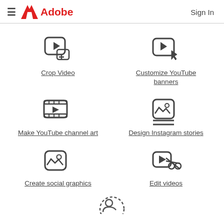Adobe  Sign In
Crop Video
Customize YouTube banners
Make YouTube channel art
Design Instagram stories
Create social graphics
Edit videos